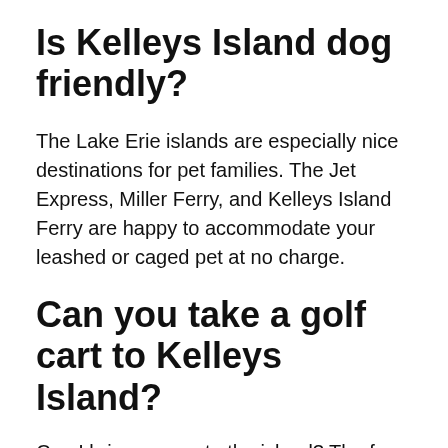Is Kelleys Island dog friendly?
The Lake Erie islands are especially nice destinations for pet families. The Jet Express, Miller Ferry, and Kelleys Island Ferry are happy to accommodate your leashed or caged pet at no charge.
Can you take a golf cart to Kelleys Island?
Can I bring my car to the island? The ferry does allow visitors to bring their vehicles to Kelleys Island. A car is convenient if you plan to do a lot of travel on the island itself.